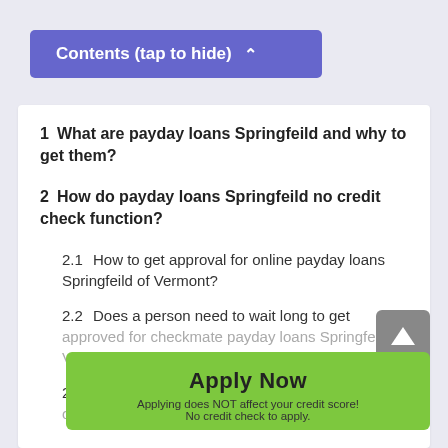Contents (tap to hide) ^
1  What are payday loans Springfeild and why to get them?
2  How do payday loans Springfeild no credit check function?
2.1  How to get approval for online payday loans Springfeild of Vermont?
2.2  Does a person need to wait long to get approved for checkmate payday loans Springfeild in Vermont?
2.3  How many payday loans Springfeild online can one person get?
Apply Now
Applying does NOT affect your credit score!
No credit check to apply.